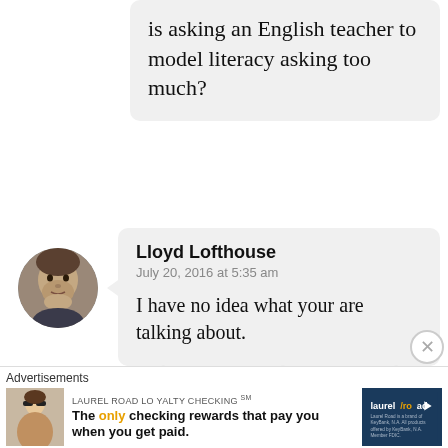is asking an English teacher to model literacy asking too much?
[Figure (photo): Circular avatar photo of a man (Lloyd Lofthouse)]
Lloyd Lofthouse
July 20, 2016 at 5:35 am

I have no idea what your are talking about.

Before NCLB, before RTTT, before the Common Core crap and
Advertisements
[Figure (screenshot): Advertisement: Laurel Road Loyalty Checking. 'The only checking rewards that pay you when you get paid.' with Laurel Road logo and photo of woman.]